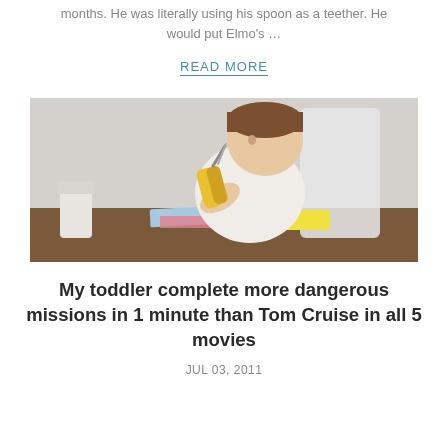months. He was literally using his spoon as a teether. He would put Elmo's …
READ MORE
[Figure (photo): A toddler sitting at a wooden table holding yellow scissors near their face, with colorful paper on the table. White background.]
My toddler complete more dangerous missions in 1 minute than Tom Cruise in all 5 movies
JUL 03, 2011